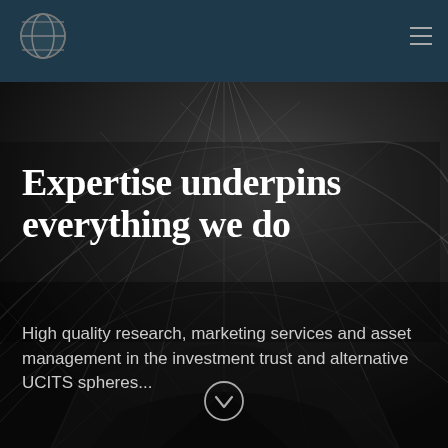[Figure (screenshot): Dark teal website header bar with a globe/sphere logo icon on the left side]
[Figure (photo): Black and white architectural photo of a geodesic dome or lattice steel structure ceiling viewed from below, dramatic perspective with geometric triangular patterns]
Expertise underpins everything we do
High quality research, marketing services and asset management in the investment trust and alternative UCITS spheres...